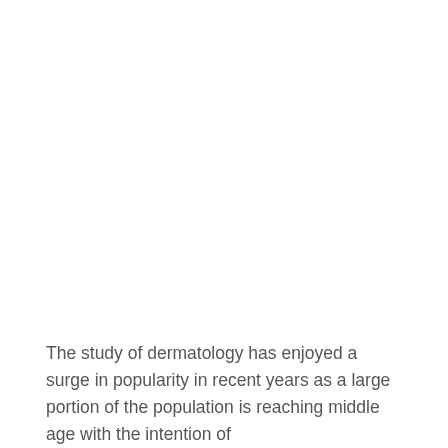The study of dermatology has enjoyed a surge in popularity in recent years as a large portion of the population is reaching middle age with the intention of